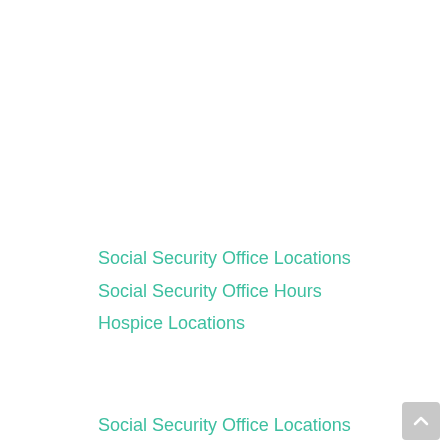Social Security Office Locations
Social Security Office Hours
Hospice Locations
Social Security Office Locations
Social Security Office Hours
Atlanta Social Security Offices
Austin Social Security Offices
Boston Social Security Offices